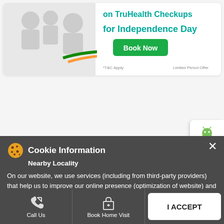[Figure (screenshot): Health checkup promotional banner with family photo and 'Book Now' button for Independence Day TruHealth Checkups offer]
[Figure (screenshot): Android and Apple app download buttons panel on right side]
Cookie Information
Nearby Locality
On our website, we use services (including from third-party providers) that help us to improve our online presence (optimization of website) and to display content that is geared to their interests. We need your consent before being able to use these services.
( Bhau Daji Road )
Call Us
Book Home Visit
Directions
I ACCEPT